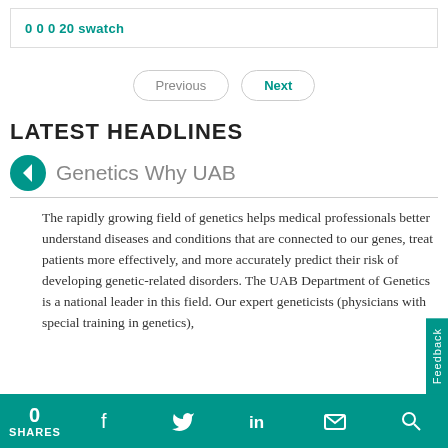0 0 0 20 swatch
Previous
Next
LATEST HEADLINES
Genetics Why UAB
The rapidly growing field of genetics helps medical professionals better understand diseases and conditions that are connected to our genes, treat patients more effectively, and more accurately predict their risk of developing genetic-related disorders. The UAB Department of Genetics is a national leader in this field. Our expert geneticists (physicians with special training in genetics),
0 SHARES | Facebook | Twitter | LinkedIn | Email | Search | Feedback